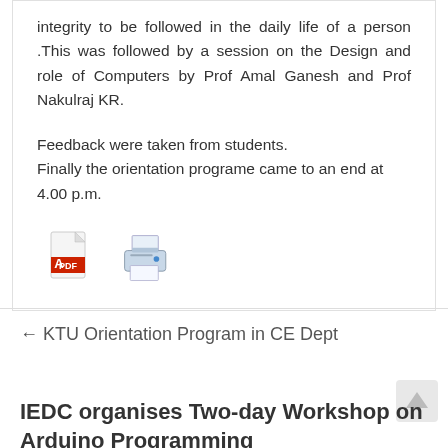integrity to be followed in the daily life of a person .This was followed by a session on the Design and role of Computers by Prof Amal Ganesh and Prof Nakulraj KR.
Feedback were taken from students.
Finally the orientation programe came to an end at 4.00 p.m.
[Figure (illustration): PDF icon and printer icon side by side]
← KTU Orientation Program in CE Dept
IEDC organises Two-day Workshop on Arduino Programming